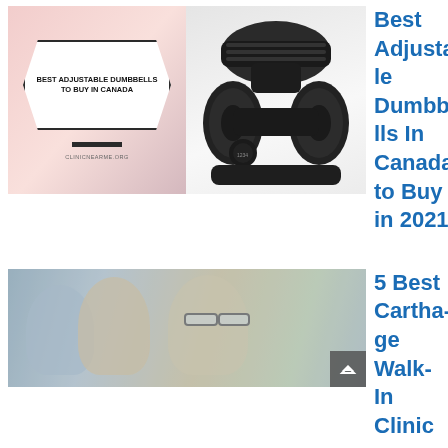[Figure (photo): Composite image: pink card with hexagon badge reading 'BEST ADJUSTABLE DUMBBELLS TO BUY IN CANADA' and a black adjustable dumbbell on white background]
Best Adjustable Dumbbells In Canada to Buy in 2021
[Figure (photo): Two people wearing masks, one with glasses, blurred background — clinic setting]
5 Best Carthage Walk-In Clinic